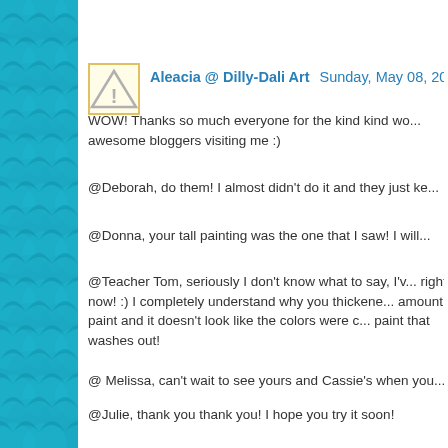[Figure (illustration): Teal/cyan scallop pattern sidebar on the left side of the page]
[Figure (illustration): Warning triangle avatar icon with exclamation mark in a yellow/white box]
Aleacia @ Dilly-Dali Art  Sunday, May 08, 2011
WOW! Thanks so much everyone for the kind kind wo... awesome bloggers visiting me :)
@Deborah, do them! I almost didn't do it and they just ke...
@Donna, your tall painting was the one that I saw! I will...
@Teacher Tom, seriously I don't know what to say, I'v... right now! :) I completely understand why you thickene... amount of paint and it doesn't look like the colors were c... paint that washes out!
@ Melissa, can't wait to see yours and Cassie's when you...
@Julie, thank you thank you! I hope you try it soon!
@Rachelle, I don't know if Holton Rower knows he's go... let him know somehow!